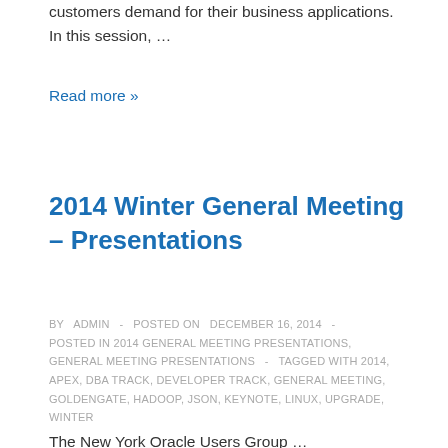customers demand for their business applications. In this session, …
Read more »
2014 Winter General Meeting – Presentations
BY ADMIN - POSTED ON DECEMBER 16, 2014 - POSTED IN 2014 GENERAL MEETING PRESENTATIONS, GENERAL MEETING PRESENTATIONS - TAGGED WITH 2014, APEX, DBA TRACK, DEVELOPER TRACK, GENERAL MEETING, GOLDENGATE, HADOOP, JSON, KEYNOTE, LINUX, UPGRADE, WINTER
The New York Oracle Users Group …